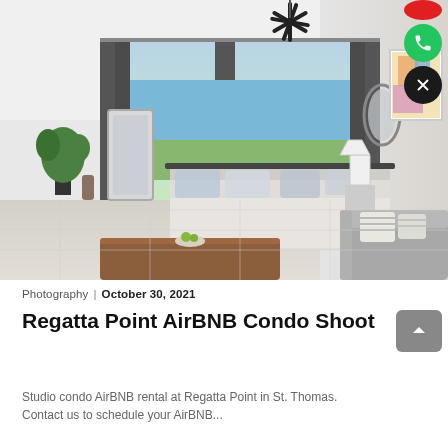[Figure (photo): Interior photo of a studio condo AirBNB showing a bedroom with a ceiling fan, floor-to-ceiling curtains and windows with ocean view, a bed with pillows, a mirror, framed colorful art, indoor plant, wooden coffee table with a bowl of fruit, and a gray couch with striped pillows. The room has white tile floors.]
Photography  |  October 30, 2021
Regatta Point AirBNB Condo Shoot
Studio condo AirBNB rental at Regatta Point in St. Thomas. Contact us to schedule your AirBNB...